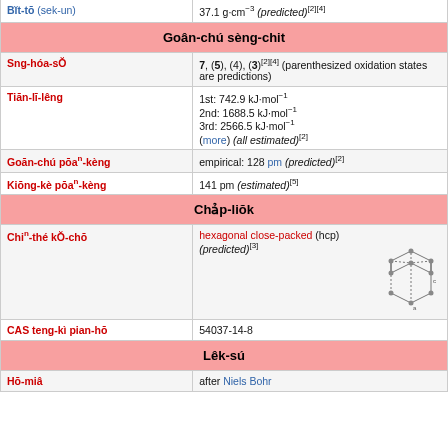| Bĭt-tō (sek-un) | 37.1 g·cm−3 (predicted)[2][4] |
| Goân-chú sèng-chit |  |
| Sng-hóa-sŎ | 7, (5), (4), (3)[2][4] (parenthesized oxidation states are predictions) |
| Tiān-lī-lêng | 1st: 742.9 kJ·mol−1
2nd: 1688.5 kJ·mol−1
3rd: 2566.5 kJ·mol−1
(more) (all estimated)[2] |
| Goān-chú pōan-kèng | empirical: 128 pm (predicted)[2] |
| Kiōng-kè pōan-kèng | 141 pm (estimated)[5] |
| Chảp-liŏk |  |
| Chin-thé kŎ-chō | hexagonal close-packed (hcp) (predicted)[3] |
| CAS teng-kì pian-hō | 54037-14-8 |
| Lêk-sú |  |
| Hō-miâ | after Niels Bohr |